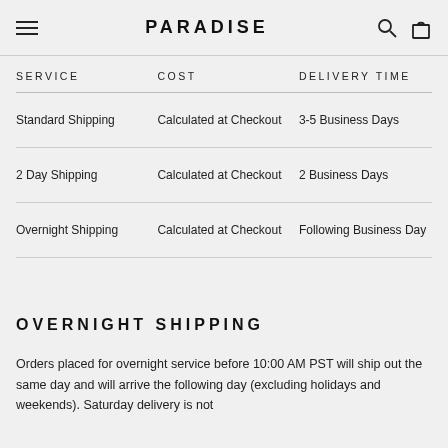PARADISE
| SERVICE | COST | DELIVERY TIME |
| --- | --- | --- |
| Standard Shipping | Calculated at Checkout | 3-5 Business Days |
| 2 Day Shipping | Calculated at Checkout | 2 Business Days |
| Overnight Shipping | Calculated at Checkout | Following Business Day |
OVERNIGHT SHIPPING
Orders placed for overnight service before 10:00 AM PST will ship out the same day and will arrive the following day (excluding holidays and weekends). Saturday delivery is not